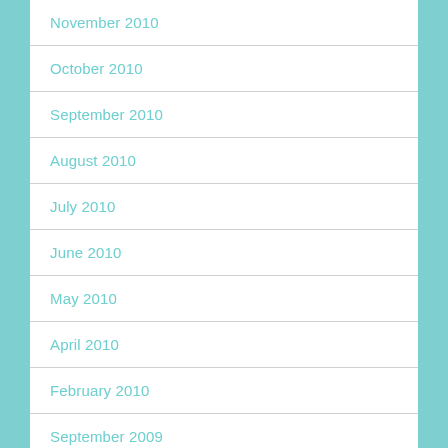November 2010
October 2010
September 2010
August 2010
July 2010
June 2010
May 2010
April 2010
February 2010
September 2009
August 2009
July 2009